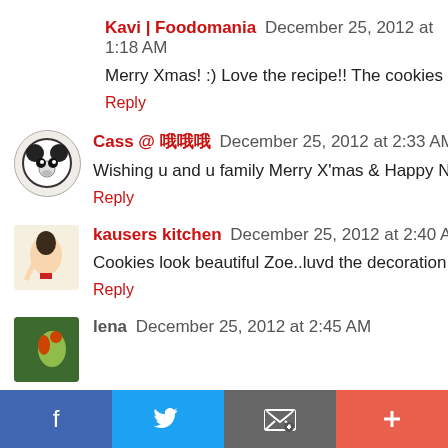Kavi | Foodomania December 25, 2012 at 1:18 AM
Merry Xmas! :) Love the recipe!! The cookies look soooo
Reply
Cass @ 哦哦哦 December 25, 2012 at 2:33 AM
Wishing u and u family Merry X'mas & Happy New Year
Reply
kausers kitchen December 25, 2012 at 2:40 AM
Cookies look beautiful Zoe..luvd the decoration..Merry C
Reply
lena December 25, 2012 at 2:45 AM
[Figure (other): Social sharing bar with Facebook, Twitter, Email, and Plus buttons]